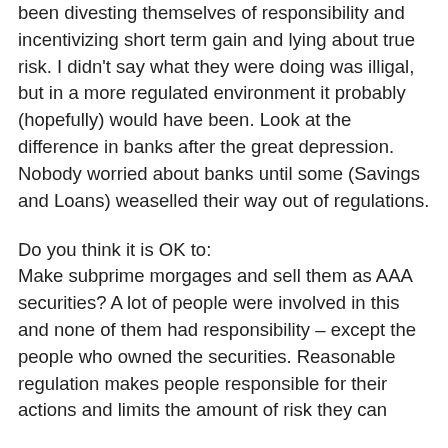been divesting themselves of responsibility and incentivizing short term gain and lying about true risk. I didn't say what they were doing was illigal, but in a more regulated environment it probably (hopefully) would have been. Look at the difference in banks after the great depression. Nobody worried about banks until some (Savings and Loans) weaselled their way out of regulations.
Do you think it is OK to:
Make subprime morgages and sell them as AAA securities? A lot of people were involved in this and none of them had responsibility – except the people who owned the securities. Reasonable regulation makes people responsible for their actions and limits the amount of risk they can